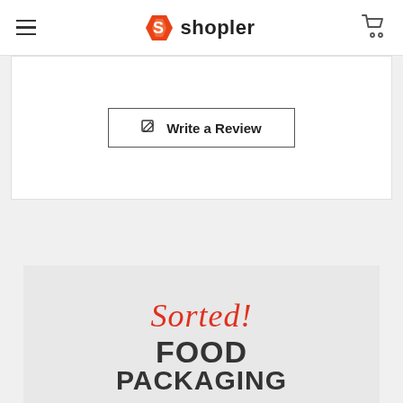shopler
[Figure (screenshot): Write a Review button with edit icon in a bordered rectangle]
[Figure (illustration): Shopler food packaging banner with red cursive 'Sorted!' text and bold dark 'FOOD PACKAGING' text on light gray background]